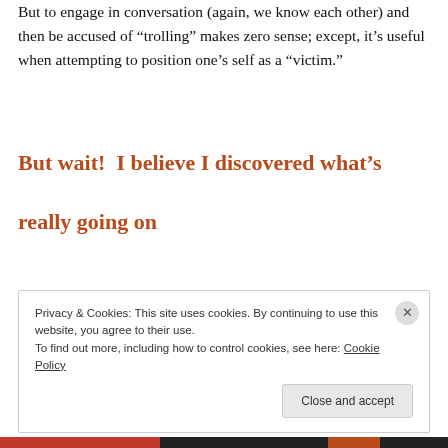But to engage in conversation (again, we know each other) and then be accused of “trolling” makes zero sense; except, it’s useful when attempting to position one’s self as a “victim.”
But wait!  I believe I discovered what’s really going on
Privacy & Cookies: This site uses cookies. By continuing to use this website, you agree to their use.
To find out more, including how to control cookies, see here: Cookie Policy